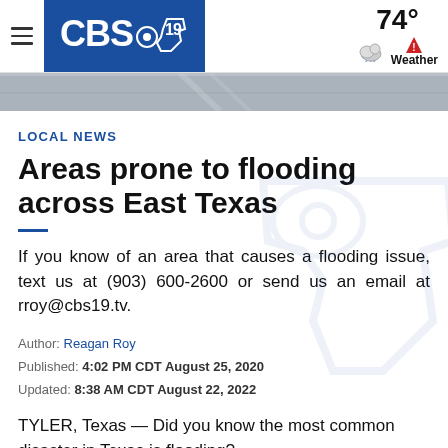CBS 19 | 74° Weather
[Figure (photo): Aerial or road photo strip showing a road scene, gray sky tones]
LOCAL NEWS
Areas prone to flooding across East Texas
If you know of an area that causes a flooding issue, text us at (903) 600-2600 or send us an email at rroy@cbs19.tv.
Author: Reagan Roy
Published: 4:02 PM CDT August 25, 2020
Updated: 8:38 AM CDT August 22, 2022
TYLER, Texas — Did you know the most common disaster in Texas is flooding?